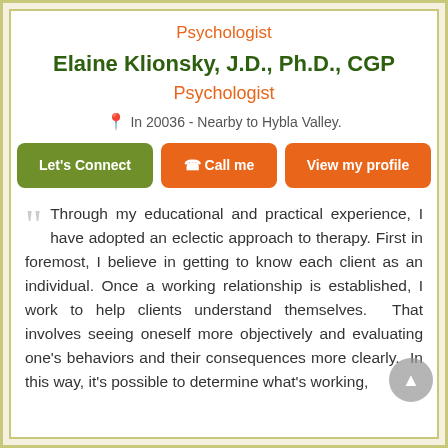Psychologist
Elaine Klionsky, J.D., Ph.D., CGP
Psychologist
In 20036 - Nearby to Hybla Valley.
Let's Connect | Call me | View my profile
Through my educational and practical experience, I have adopted an eclectic approach to therapy. First in foremost, I believe in getting to know each client as an individual. Once a working relationship is established, I work to help clients understand themselves. That involves seeing oneself more objectively and evaluating one's behaviors and their consequences more clearly. In this way, it's possible to determine what's working,